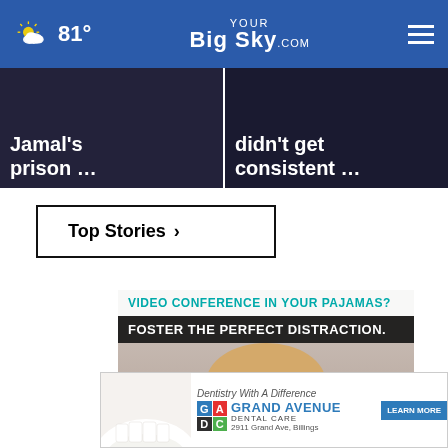81° YOUR Big Sky .com
[Figure (photo): Dark thumbnail image with white bold text: Jamal's prison ...]
[Figure (photo): Dark thumbnail image with white bold text: didn't get consistent ...]
Top Stories ›
[Figure (screenshot): Advertisement overlay reading 'VIDEO CONFERENCE IN YOUR PAJAMAS? FOSTER THE PERFECT DISTRACTION.' with image of woman at laptop, and a close (×) button]
[Figure (photo): Bottom ad banner for Grand Avenue Dental Care: 'Dentistry With A Difference', GADC logo, 2911 Grand Ave, Billings, LEARN MORE button]